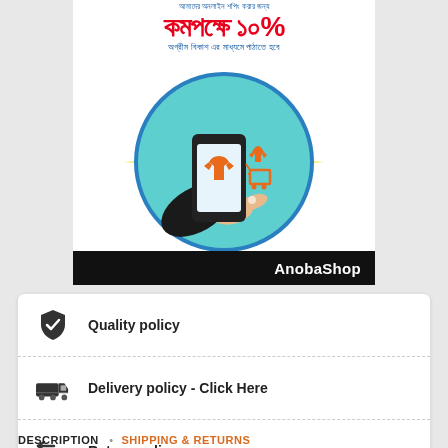[Figure (infographic): AnobaShop promotional banner with Bengali text showing a discount offer (at least 10%), an illustration of a hand holding a smartphone with a shopping app showing an orange t-shirt and a shopping cart with orange t-shirt, set inside a teal circle on yellow background. Black footer bar with 'AnobaShop' text in white.]
Quality policy
Delivery policy - Click Here
Return policy
DESCRIPTION   SHIPPING & RETURNS